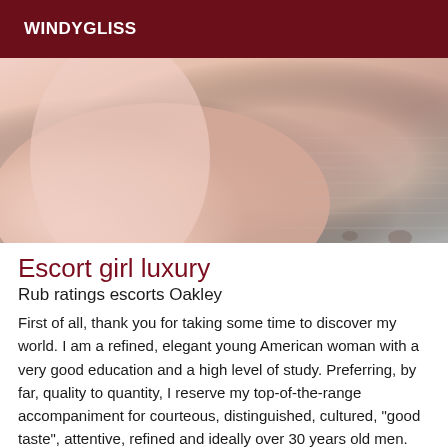WINDYGLISS
[Figure (photo): Close-up photo of a person's skin/body, pinkish-beige tones with soft lighting, partial abstract view]
Escort girl luxury
Rub ratings escorts Oakley
First of all, thank you for taking some time to discover my world. I am a refined, elegant young American woman with a very good education and a high level of study. Preferring, by far, quality to quantity, I reserve my top-of-the-range accompaniment for courteous, distinguished, cultured, "good taste", attentive, refined and ideally over 30 years old men. Please note that my professional activity restricts my availability and forces